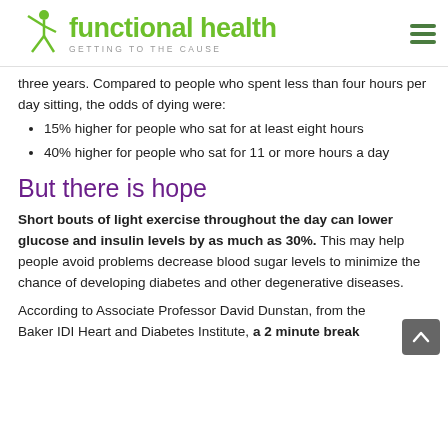functional health — GETTING TO THE CAUSE
three years. Compared to people who spent less than four hours per day sitting, the odds of dying were:
15% higher for people who sat for at least eight hours
40% higher for people who sat for 11 or more hours a day
But there is hope
Short bouts of light exercise throughout the day can lower glucose and insulin levels by as much as 30%.  This may help people avoid problems decrease blood sugar levels to minimize the chance of developing diabetes and other degenerative diseases.
According to Associate Professor David Dunstan, from the Baker IDI Heart and Diabetes Institute, a 2 minute break